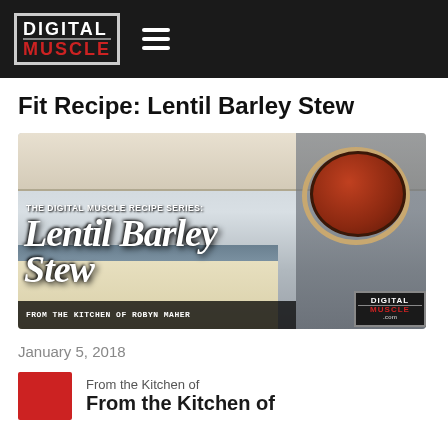DIGITAL MUSCLE [logo with hamburger menu]
Fit Recipe: Lentil Barley Stew
[Figure (photo): Featured image for Lentil Barley Stew recipe from The Digital Muscle Recipe Series, From the Kitchen of Robyn Maher. Kitchen background with script title overlay and bowl of stew.]
January 5, 2018
From the Kitchen of